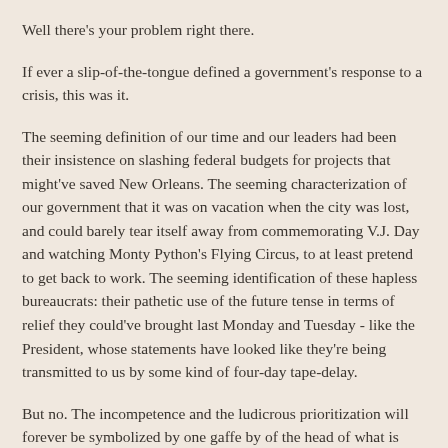Well there's your problem right there.
If ever a slip-of-the-tongue defined a government's response to a crisis, this was it.
The seeming definition of our time and our leaders had been their insistence on slashing federal budgets for projects that might've saved New Orleans. The seeming characterization of our government that it was on vacation when the city was lost, and could barely tear itself away from commemorating V.J. Day and watching Monty Python's Flying Circus, to at least pretend to get back to work. The seeming identification of these hapless bureaucrats: their pathetic use of the future tense in terms of relief they could've brought last Monday and Tuesday - like the President, whose statements have looked like they're being transmitted to us by some kind of four-day tape-delay.
But no. The incompetence and the ludicrous prioritization will forever be symbolized by one gaffe by of the head of what is ironically called "The Department of Homeland Security":